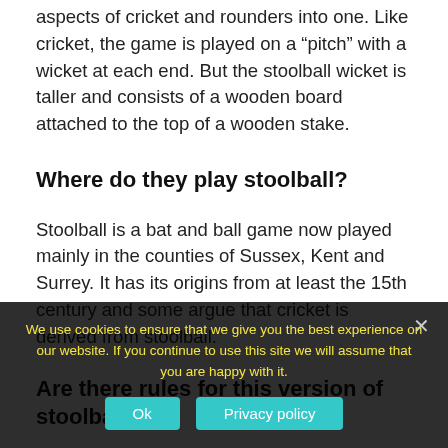aspects of cricket and rounders into one. Like cricket, the game is played on a “pitch” with a wicket at each end. But the stoolball wicket is taller and consists of a wooden board attached to the top of a wooden stake.
Where do they play stoolball?
Stoolball is a bat and ball game now played mainly in the counties of Sussex, Kent and Surrey. It has its origins from at least the 15th century and some argue that cricket is derived from stoolball.
Are there rules for this version of stoolball?
We use cookies to ensure that we give you the best experience on our website. If you continue to use this site we will assume that you are happy with it.